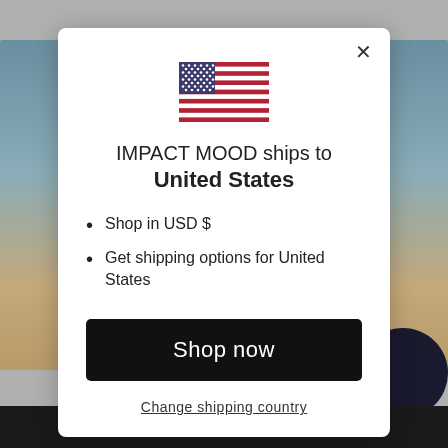[Figure (screenshot): Background showing beach/ocean scene with gray overlay, visible on left and right sides behind modal dialog]
[Figure (illustration): United States flag icon shown at top center of modal]
IMPACT MOOD ships to United States
Shop in USD $
Get shipping options for United States
Shop now
Change shipping country
SHOP NOW